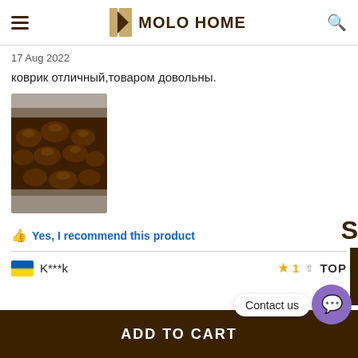MOLO HOME
17 Aug 2022
коврик отличный,товаром довольны.
[Figure (photo): Photo of a dark brown pebble-textured bath mat/rug.]
Yes, I recommend this product
K***k
★1 TOP
Contact us
ADD TO CART